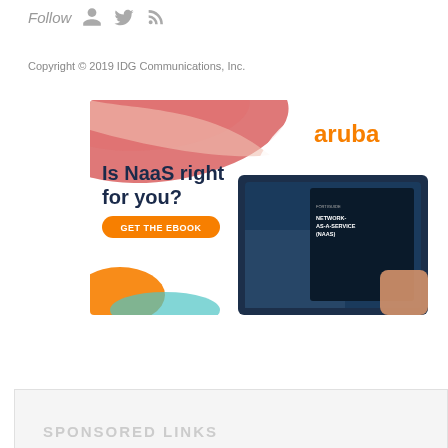Follow
Copyright © 2019 IDG Communications, Inc.
[Figure (illustration): Aruba Networks advertisement banner. White background with abstract colored shapes (red/salmon at top, orange and teal at bottom-left). Orange 'aruba' logo at top-right. Dark navy headline 'Is NaaS right for you?' with orange 'GET THE EBOOK' button. Hand holding a tablet showing 'NETWORK-AS-A-SERVICE (NAAS)' ebook cover on dark background.]
SPONSORED LINKS